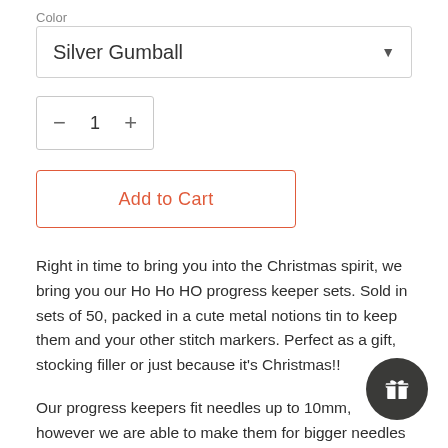Color
Silver Gumball
- 1 +
Add to Cart
Right in time to bring you into the Christmas spirit, we bring you our Ho Ho HO progress keeper sets. Sold in sets of 50, packed in a cute metal notions tin to keep them and your other stitch markers. Perfect as a gift, stocking filler or just because it's Christmas!!
Our progress keepers fit needles up to 10mm, however we are able to make them for bigger needles on request also.
Their shape ensures that they do not slip under your stitch and the 3D print ensures they are light and won't damage your